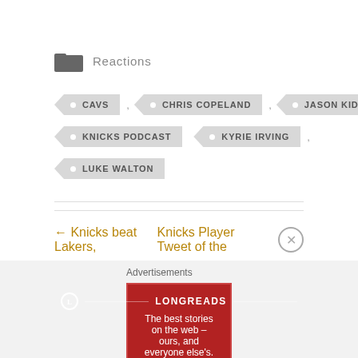Reactions
CAVS
CHRIS COPELAND
JASON KIDD
KNICKS PODCAST
KYRIE IRVING
LUKE WALTON
← Knicks beat Lakers,
Knicks Player Tweet of the
Advertisements
LONGREADS The best stories on the web — ours, and everyone else's.